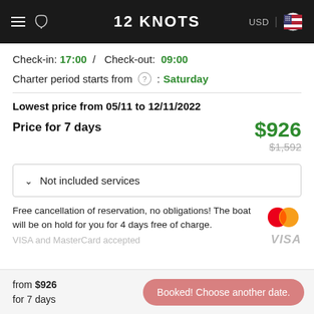12 KNOTS — USD | US Flag
Check-in: 17:00 / Check-out: 09:00
Charter period starts from (?): Saturday
Lowest price from 05/11 to 12/11/2022
Price for 7 days — $926 ($1,592 original)
Not included services
Free cancellation of reservation, no obligations! The boat will be on hold for you for 4 days free of charge.
VISA and MasterCard accepted
from $926 for 7 days — Booked! Choose another date.
Length: 11.34 m